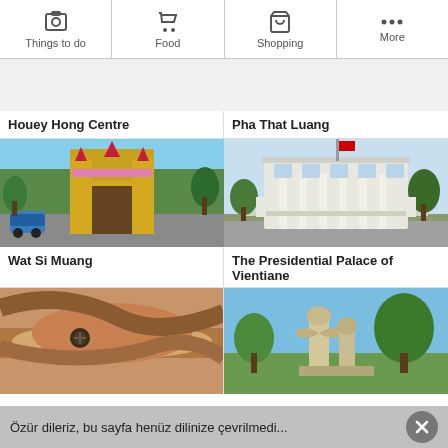Things to do | Food | Shopping | More
Houey Hong Centre
Pha That Luang
[Figure (photo): Wat Si Muang temple gate with tuk-tuk in foreground]
Wat Si Muang
[Figure (photo): The Presidential Palace of Vientiane, white colonial building with flag]
The Presidential Palace of Vientiane
[Figure (photo): Close-up of wooden/leather craft item]
[Figure (photo): Outdoor sculpture garden with stone figures and trees]
Özür dileriz, bu sayfa henüz dilinize çevrilmedi...